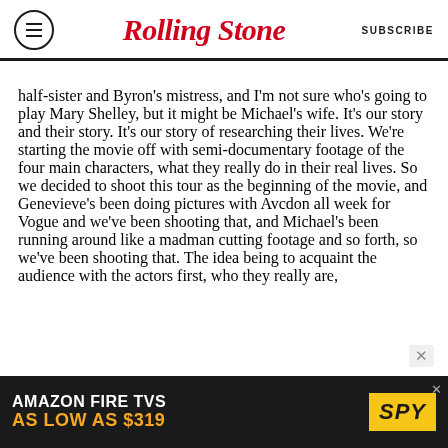Rolling Stone | SUBSCRIBE
half-sister and Byron's mistress, and I'm not sure who's going to play Mary Shelley, but it might be Michael's wife. It's our story and their story. It's our story of researching their lives. We're starting the movie off with semi-documentary footage of the four main characters, what they really do in their real lives. So we decided to shoot this tour as the beginning of the movie, and Genevieve's been doing pictures with Avcdon all week for Vogue and we've been shooting that, and Michael's been running around like a madman cutting footage and so forth, so we've been shooting that. The idea being to acquaint the audience with the actors first, who they really are,
[Figure (other): Advertisement banner: AMAZON FIRE TVS AS LOW AS $319 / SPY logo]